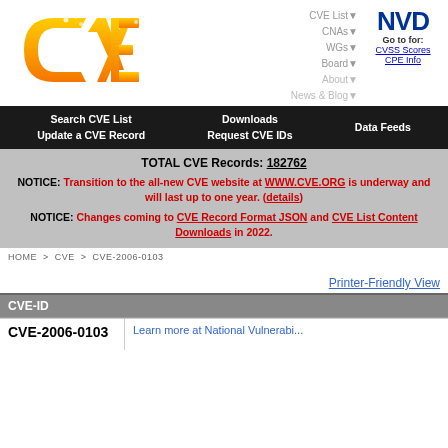[Figure (logo): CVE orange logo with circuit-board dots]
CVE List▼  CNAs▼  WGs▼  Board▼  About▼  News & Blog▼
[Figure (logo): NVD logo — Go to for: CVSS Scores, CPE Info]
Search CVE List   Downloads   Data Feeds   Update a CVE Record   Request CVE IDs
TOTAL CVE Records: 182762
NOTICE: Transition to the all-new CVE website at WWW.CVE.ORG is underway and will last up to one year. (details)
NOTICE: Changes coming to CVE Record Format JSON and CVE List Content Downloads in 2022.
HOME > CVE > CVE-2006-0103
Printer-Friendly View
| CVE-ID |  |
| --- | --- |
| CVE-2006-0103 | Learn more at National Vulnerabi... |